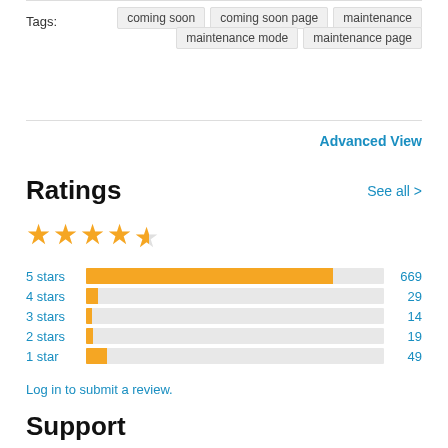Tags:
coming soon
coming soon page
maintenance
maintenance mode
maintenance page
Advanced View
Ratings
See all >
[Figure (bar-chart): Ratings distribution]
Log in to submit a review.
Support